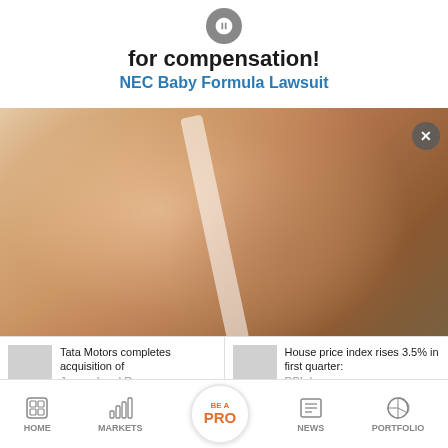for compensation!
NEC Baby Formula Lawsuit
[Figure (photo): Close-up photo of a person's bare shoulder and upper arm, wearing a white tank top strap, with a hand touching the arm area. Blurred green background suggesting outdoor setting.]
Tata Motors completes acquisition of Jaguar Land Rover
House price index rises 3.5% in first quarter: RBI data
HOME  MARKETS  BE A PRO  NEWS  PORTFOLIO